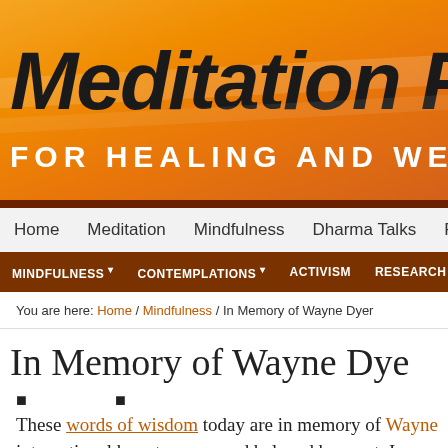Meditation Pra[ctice] FOR HEALING AND WE[LLNESS]
Home  Meditation  Mindfulness  Dharma Talks  P[odcast]
MINDFULNESS ▾  CONTEMPLATIONS ▾  ACTIVISM  RESEARCH  VIDEO[S]
You are here: Home / Mindfulness / In Memory of Wayne Dyer
In Memory of Wayne Dye[r]
These words of wisdom today are in memory of Wayne [Dyer,] international hero to many and beloved by most. I rece[ntly] just last week in The Value of Diligence. Who would h[ave]